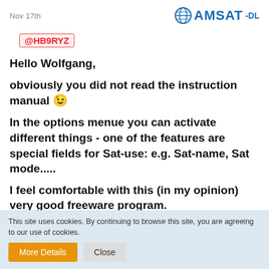Nov 17th   AMSAT-DL
@HB9RYZ
Hello Wolfgang,
obviously you did not read the instruction manual 😉
In the options menue you can activate different things - one of the features are special fields for Sat-use: e.g. Sat-name, Sat mode.....
I feel comfortable with this (in my opinion) very good freeware program.
This site uses cookies. By continuing to browse this site, you are agreeing to our use of cookies.
More Details   Close